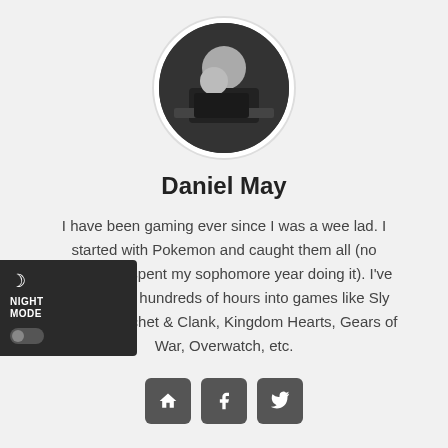[Figure (photo): Circular avatar photo of Daniel May, black and white, person leaning over a surface]
Daniel May
I have been gaming ever since I was a wee lad. I started with Pokemon and caught them all (no seriously, I spent my sophomore year doing it). I've also logged hundreds of hours into games like Sly Cooper, Ratchet & Clank, Kingdom Hearts, Gears of War, Overwatch, etc.
[Figure (infographic): Night mode toggle widget in top-left overlay area]
[Figure (infographic): Three social icon buttons: home, facebook, twitter]
RELATED POSTS
[Figure (photo): Partial bottom image strip, black and white photo]